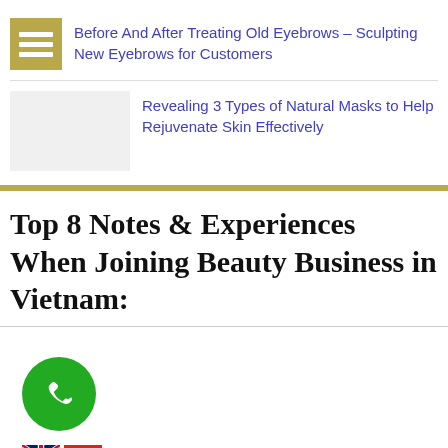Before And After Treating Old Eyebrows – Sculpting New Eyebrows for Customers
Revealing 3 Types of Natural Masks to Help Rejuvenate Skin Effectively
Top 8 Notes & Experiences When Joining Beauty Business in Vietnam:
[Figure (other): Green circular phone/call button icon]
[Figure (other): UK and Vietnam flag icons for language selection]